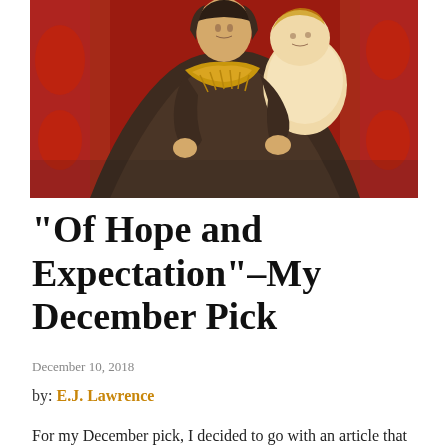[Figure (photo): Renaissance painting depicting the Virgin Mary holding the Christ child, with red decorative background and golden garments]
“Of Hope and Expectation”–My December Pick
December 10, 2018
by: E.J. Lawrence
For my December pick, I decided to go with an article that matches the season–my April article on Mary